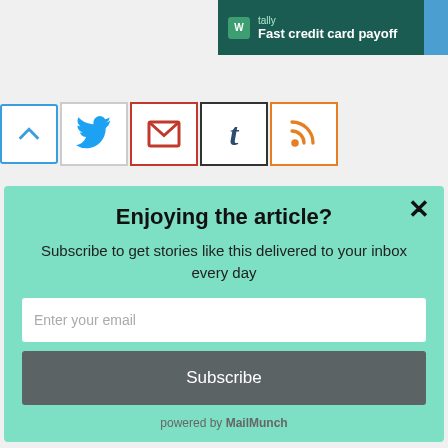[Figure (screenshot): Tally app advertisement banner: dark teal background with Tally logo and text 'Fast credit card payoff' with a blue button on the right]
[Figure (screenshot): Social sharing toolbar with icons: up-arrow (collapse), Twitter bird, email envelope, Tumblr 't', RSS feed icon]
Enjoying the article?
Subscribe to get stories like this delivered to your inbox every day
[Figure (screenshot): Email input field with placeholder 'Enter your email']
Subscribe
powered by MailMunch